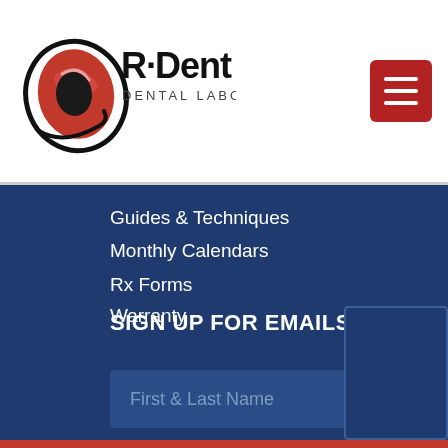[Figure (logo): R-Dent Dental Laboratory logo with red swirl graphic and black text]
Guides & Techniques
Monthly Calendars
Rx Forms
Warranty
SIGN UP FOR EMAILS
First & Last Name
Practice Name
Email